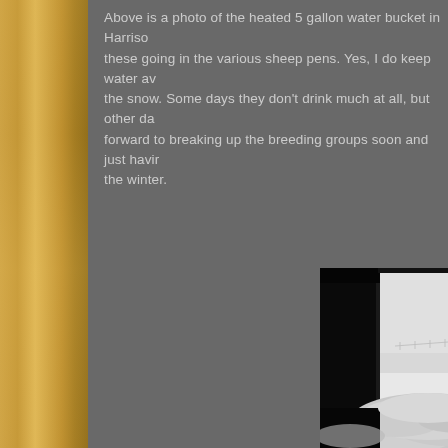Above is a photo of the heated 5 gallon water bucket in Harrison... these going in the various sheep pens. Yes, I do keep water ava... the snow. Some days they don't drink much at all, but other day... forward to breaking up the breeding groups soon and just havin... the winter.
[Figure (photo): Black and white photograph viewed from inside a dark barn looking out through double barn doors at a snowy winter landscape with trees and fence visible in the distance. Snow is drifted at the base of the doors.]